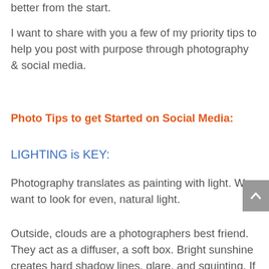better from the start.
I want to share with you a few of my priority tips to help you post with purpose through photography & social media.
Photo Tips to get Started on Social Media:
LIGHTING is KEY:
Photography translates as painting with light. We want to look for even, natural light.
Outside, clouds are a photographers best friend. They act as a diffuser, a soft box. Bright sunshine creates hard shadow lines, glare, and squinting. If clouds are not in the forecast look for shade. Go around the